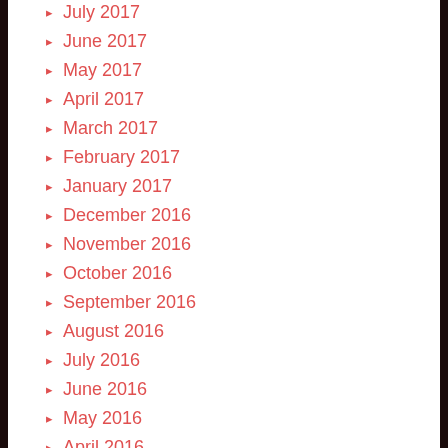July 2017
June 2017
May 2017
April 2017
March 2017
February 2017
January 2017
December 2016
November 2016
October 2016
September 2016
August 2016
July 2016
June 2016
May 2016
April 2016